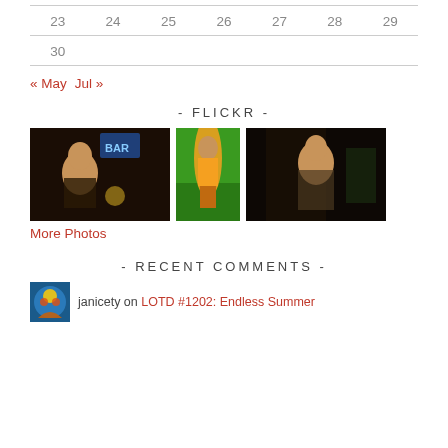| 23 | 24 | 25 | 26 | 27 | 28 | 29 |
| --- | --- | --- | --- | --- | --- | --- |
| 30 |  |  |  |  |  |  |
« May   Jul »
- FLICKR -
[Figure (photo): Three Flickr thumbnail photos: a woman at a bar, a woman in a yellow bikini with surfboard, and a woman in a dark room]
More Photos
- RECENT COMMENTS -
janicety on LOTD #1202: Endless Summer